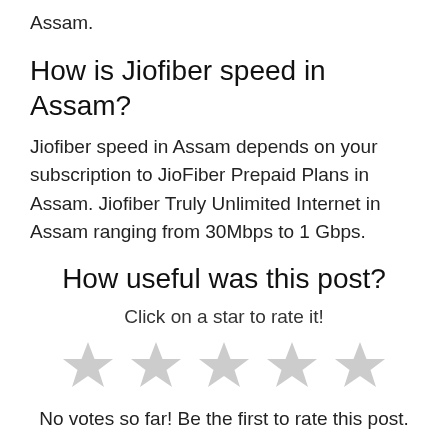Assam.
How is Jiofiber speed in Assam?
Jiofiber speed in Assam depends on your subscription to JioFiber Prepaid Plans in Assam. Jiofiber Truly Unlimited Internet in Assam ranging from 30Mbps to 1 Gbps.
How useful was this post?
Click on a star to rate it!
[Figure (other): Five empty grey star rating icons]
No votes so far! Be the first to rate this post.